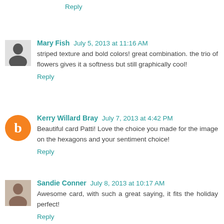Reply
Mary Fish  July 5, 2013 at 11:16 AM
striped texture and bold colors! great combination. the trio of flowers gives it a softness but still graphically cool!
Reply
Kerry Willard Bray  July 7, 2013 at 4:42 PM
Beautiful card Patti! Love the choice you made for the image on the hexagons and your sentiment choice!
Reply
Sandie Conner  July 8, 2013 at 10:17 AM
Awesome card, with such a great saying, it fits the holiday perfect!
Reply